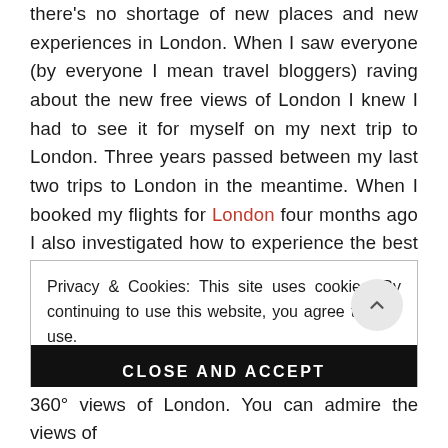there's no shortage of new places and new experiences in London. When I saw everyone (by everyone I mean travel bloggers) raving about the new free views of London I knew I had to see it for myself on my next trip to London. Three years passed between my last two trips to London in the meantime. When I booked my flights for London four months ago I also investigated how to experience the best free views of London by visiting the Sky Garden.
Privacy & Cookies: This site uses cookies. By continuing to use this website, you agree to their use. To find out more, including how to control cookies, see here: Cookie Policy
CLOSE AND ACCEPT
360° views of London. You can admire the views of